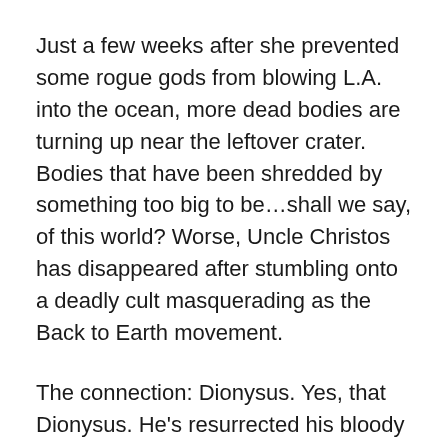Just a few weeks after she prevented some rogue gods from blowing L.A. into the ocean, more dead bodies are turning up near the leftover crater. Bodies that have been shredded by something too big to be…shall we say, of this world? Worse, Uncle Christos has disappeared after stumbling onto a deadly cult masquerading as the Back to Earth movement.
The connection: Dionysus. Yes, that Dionysus. He's resurrected his bloody fertility rite, complete with frenzied female groupies who tear men limb from limb. And he's lured Demeter, goddess of the harvest, over to his side by finding a way to get her daughter away from Hades for good.
Predictably, Hades isn't about to let her go without a fight. Unless Tori finds a way to bring her back, he'll abandon